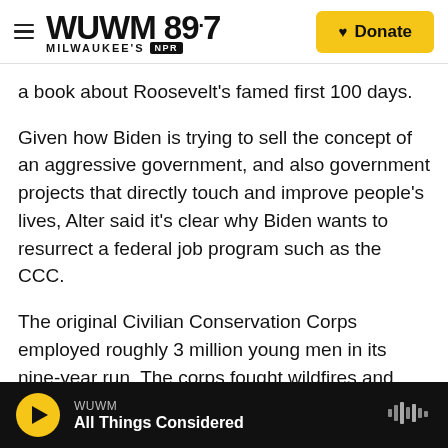WUWM 89.7 MILWAUKEE'S NPR — Donate
a book about Roosevelt's famed first 100 days.
Given how Biden is trying to sell the concept of an aggressive government, and also government projects that directly touch and improve people's lives, Alter said it's clear why Biden wants to resurrect a federal job program such as the CCC.
The original Civilian Conservation Corps employed roughly 3 million young men in its nine-year run. The corps fought wildfires and helped in disaster relief efforts after hurricanes. It built more than 100,000 miles of roads and trails, 318,000 dams
WUWM — All Things Considered